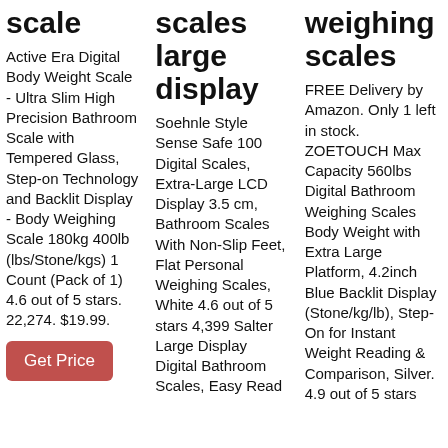scale
Active Era Digital Body Weight Scale - Ultra Slim High Precision Bathroom Scale with Tempered Glass, Step-on Technology and Backlit Display - Body Weighing Scale 180kg 400lb (lbs/Stone/kgs) 1 Count (Pack of 1) 4.6 out of 5 stars. 22,274. $19.99.
scales large display
Soehnle Style Sense Safe 100 Digital Scales, Extra-Large LCD Display 3.5 cm, Bathroom Scales With Non-Slip Feet, Flat Personal Weighing Scales, White 4.6 out of 5 stars 4,399 Salter Large Display Digital Bathroom Scales, Easy Read
weighing scales
FREE Delivery by Amazon. Only 1 left in stock. ZOETOUCH Max Capacity 560lbs Digital Bathroom Weighing Scales Body Weight with Extra Large Platform, 4.2inch Blue Backlit Display (Stone/kg/lb), Step-On for Instant Weight Reading & Comparison, Silver. 4.9 out of 5 stars